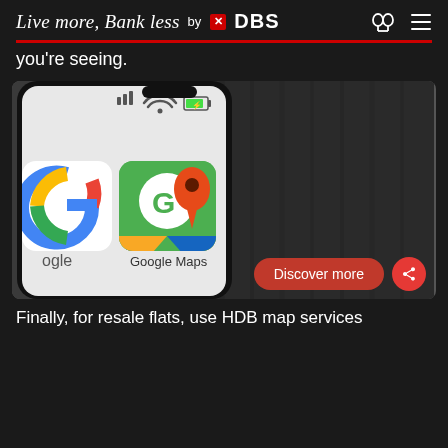Live more, Bank less by DBS
you're seeing.
[Figure (photo): Close-up photo of a smartphone screen showing Google Maps app icon alongside the Google app icon, with status bar showing signal, WiFi, and green battery indicator. Phone has a dark metal edge against a wooden surface background.]
Finally, for resale flats, use HDB map services